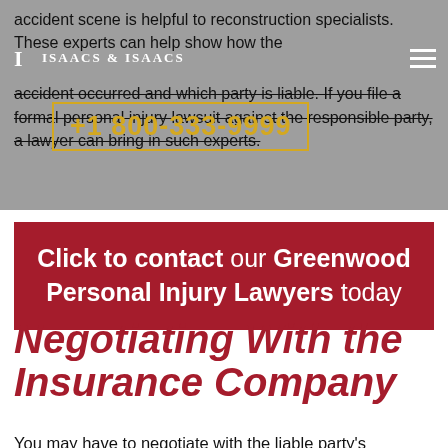ISAACS & ISAACS
accident scene is helpful to reconstruction specialists. These experts can help show how the accident occurred and which party is liable. If you file a formal personal injury lawsuit against the responsible party, a lawyer can bring in such experts.
+1 800-333-9999
Click to contact our Greenwood Personal Injury Lawyers today
Negotiating With the Insurance Company
You may have to negotiate with the liable party's